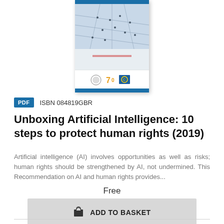[Figure (illustration): Book cover image showing aerial view of people on steps/plaza with blue bar at top and logos at bottom for a publication on AI and human rights]
PDF  ISBN 084819GBR
Unboxing Artificial Intelligence: 10 steps to protect human rights (2019)
Artificial intelligence (AI) involves opportunities as well as risks; human rights should be strengthened by AI, not undermined. This Recommendation on AI and human rights provides...
Free
ADD TO BASKET